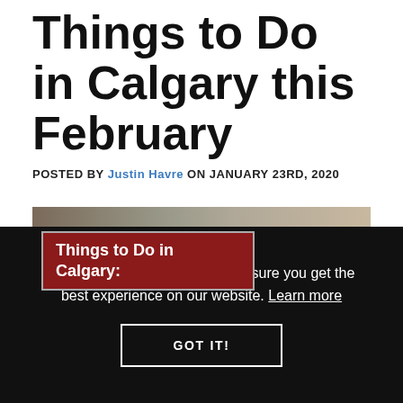Things to Do in Calgary this February
POSTED BY Justin Havre ON JANUARY 23RD, 2020
[Figure (photo): Banner image with text overlay: 'Things to Do in Calgary:' on a dark red background, and 'February 2020' in white on the right side, over a lifestyle/interior photo background.]
This website uses cookies to ensure you get the best experience on our website. Learn more
GOT IT!